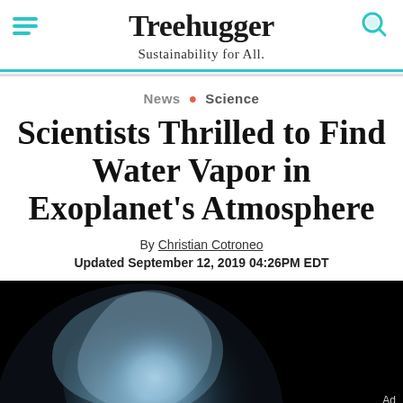Treehugger — Sustainability for All.
News • Science
Scientists Thrilled to Find Water Vapor in Exoplanet's Atmosphere
By Christian Cotroneo
Updated September 12, 2019 04:26PM EDT
[Figure (photo): Dark image of a planet or exoplanet partially illuminated against black space, showing a blue-white atmospheric glow on the limb.]